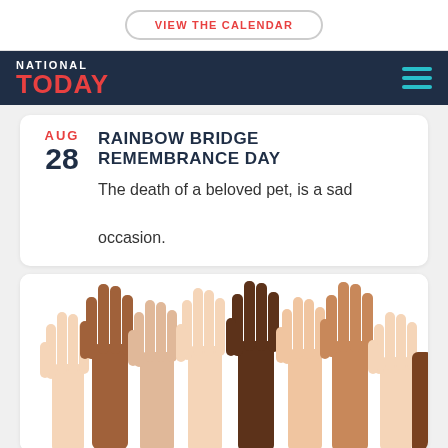VIEW THE CALENDAR
NATIONAL TODAY
AUG 28 RAINBOW BRIDGE REMEMBRANCE DAY
The death of a beloved pet, is a sad occasion.
[Figure (illustration): Illustration of multiple raised hands in various skin tones against a white background]